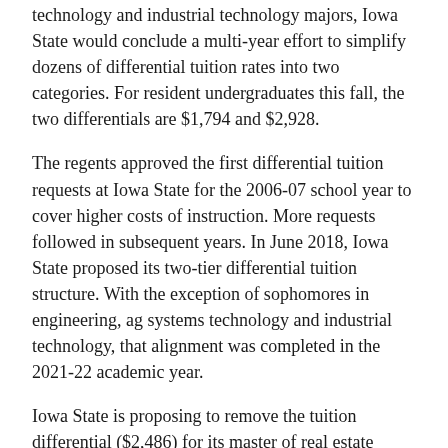technology and industrial technology majors, Iowa State would conclude a multi-year effort to simplify dozens of differential tuition rates into two categories. For resident undergraduates this fall, the two differentials are $1,794 and $2,928.
The regents approved the first differential tuition requests at Iowa State for the 2006-07 school year to cover higher costs of instruction. More requests followed in subsequent years. In June 2018, Iowa State proposed its two-tier differential tuition structure. With the exception of sophomores in engineering, ag systems technology and industrial technology, that alignment was completed in the 2021-22 academic year.
Iowa State is proposing to remove the tuition differential ($2,486) for its master of real estate development to help grow enrollment in the program. The change is based on internal market research and feedback from current and prospective students.